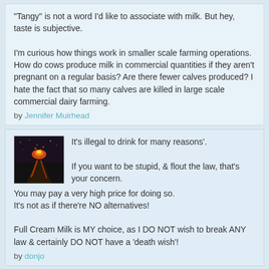"Tangy" is not a word I'd like to associate with milk. But hey, taste is subjective.

I'm curious how things work in smaller scale farming operations. How do cows produce milk in commercial quantities if they aren't pregnant on a regular basis? Are there fewer calves produced? I hate the fact that so many calves are killed in large scale commercial dairy farming.
by Jennifer Muirhead
It's illegal to drink for many reasons'.

If you want to be stupid, & flout the law, that's your concern.
You may pay a very high price for doing so.
It's not as if there're NO alternatives!

Full Cream Milk is MY choice, as I DO NOT wish to break ANY law & certainly DO NOT have a 'death wish'!
by donjo
Yes I have tried it however would not drink it